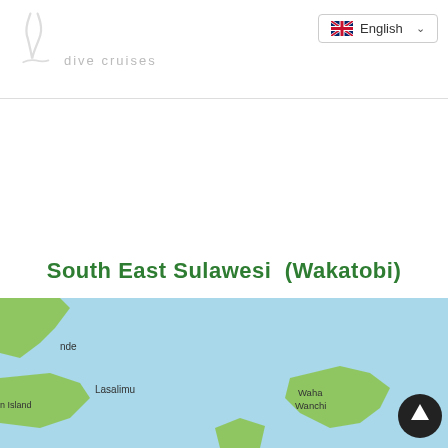dive cruises
English
South East Sulawesi  (Wakatobi)
[Figure (map): Map showing South East Sulawesi (Wakatobi) area with light blue sea and green land masses. Labels visible: Lasalimu, Waha Wanchi, n Island, nde. An up-arrow navigation button in bottom-right corner.]